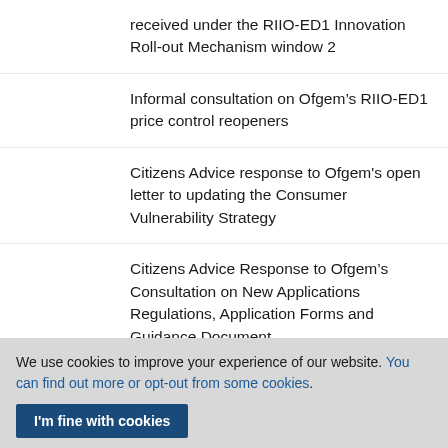received under the RIIO-ED1 Innovation Roll-out Mechanism window 2
Informal consultation on Ofgem’s RIIO-ED1 price control reopeners
Citizens Advice response to Ofgem's open letter to updating the Consumer Vulnerability Strategy
Citizens Advice Response to Ofgem’s Consultation on New Applications Regulations, Application Forms and Guidance Document
Citizens Advice response to ENA Open Networks Future Worlds consultation
We use cookies to improve your experience of our website. You can find out more or opt-out from some cookies.
I'm fine with cookies